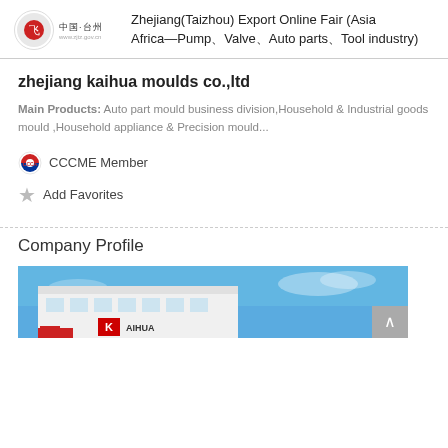Zhejiang(Taizhou) Export Online Fair (Asia—Africa—Pump、Valve、Auto parts、Tool industry)
zhejiang kaihua moulds co.,ltd
Main Products: Auto part mould business division,Household & Industrial goods mould ,Household appliance & Precision mould...
CCCME Member
Add Favorites
Company Profile
[Figure (photo): Exterior photo of Kaihua company building with blue sky background, showing white building with K AIHUA signage]